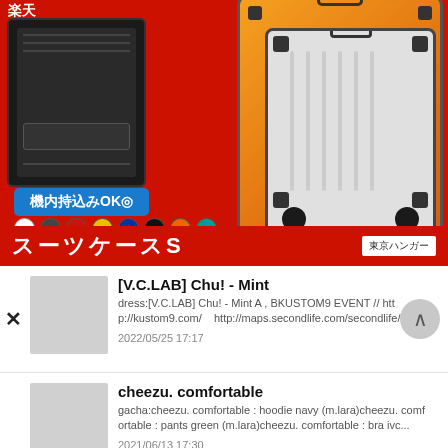[Figure (photo): Japanese e-commerce advertisement for a suitcase (スーツケースS) showing orange and white hard-shell luggage with 機内持込みOK◎ (carry-on OK) label, color options, and 楽天ランキング No.1 (Rakuten Ranking No.1) badge. Store name 東京ハンガー shown.]
[V.C.LAB] Chu! - Mint
dress:[V.C.LAB] Chu! - Mint A , BKUSTOM9 EVENT // http://kustom9.com/    http://maps.secondlife.com/secondlife/ku:...
2022/05/25 17:17
cheezu. comfortable
gacha:cheezu. comfortable : hoodie navy (m.lara)cheezu. comfortable : pants green (m.lara)cheezu. comfortable : bra ivc...
2021/06/13 17:30
Palette - Desire
top:Palette - Desire Top [Green]skirt:Palette - Desire Skirt [Green]Palette.http://maps.secondlife.com/secondlife/Bloom/181/i...